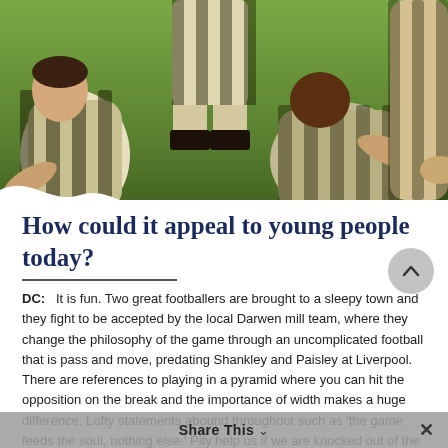[Figure (photo): People playing or gathered around a football/soccer scene on grass, wearing old-fashioned striped shirts, viewed from above and side angles.]
How could it appeal to young people today?
DC:   It is fun. Two great footballers are brought to a sleepy town and they fight to be accepted by the local Darwen mill team, where they change the philosophy of the game through an uncomplicated football that is pass and move, predating Shankley and Paisley at Liverpool. There are references to playing in a pyramid where you can hit the opposition on the break and the importance of width makes a huge difference. Lofty statements abound throughout such as 'the game feeds the soul, nothing else.' Pity help us if we are knocked out of the bloody
Share This